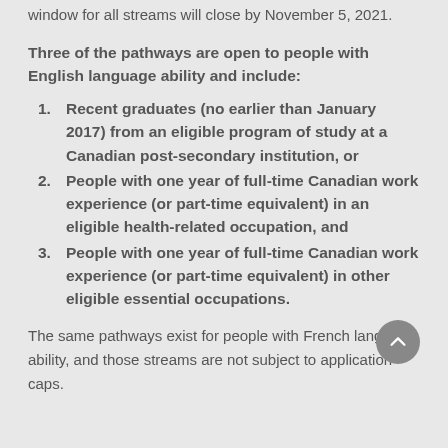window for all streams will close by November 5, 2021.
Three of the pathways are open to people with English language ability and include:
Recent graduates (no earlier than January 2017) from an eligible program of study at a Canadian post-secondary institution, or
People with one year of full-time Canadian work experience (or part-time equivalent) in an eligible health-related occupation, and
People with one year of full-time Canadian work experience (or part-time equivalent) in other eligible essential occupations.
The same pathways exist for people with French language ability, and those streams are not subject to application caps.